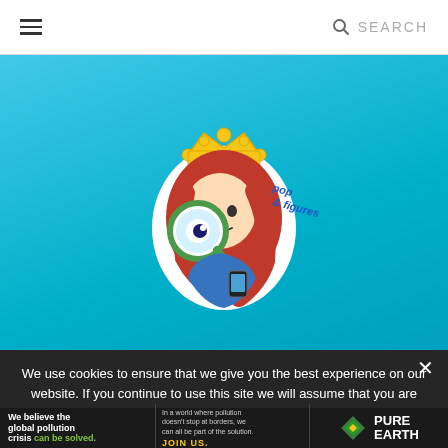≡   🔍 SEARCH
[Figure (logo): Website logo banner with teal/cyan gradient background. Center shows a cartoon girl with red hair and a gold crown holding a magnifying glass. Text around figure reads 'pop & figures' in blue cursive script.]
We use cookies to ensure that we give you the best experience on our website. If you continue to use this site we will assume that you are happy with it.
[Figure (illustration): Pure Earth advertisement banner with dark background. Left section: bold white text 'We believe the global pollution crisis can be solved.' with 'can be solved.' in green. Middle: small white text 'In a world where pollution doesn't stop at borders, we can all be part of the solution.' and yellow text 'JOIN US.' Right: Pure Earth logo (diamond shape icon) with white text 'PURE EARTH'.]